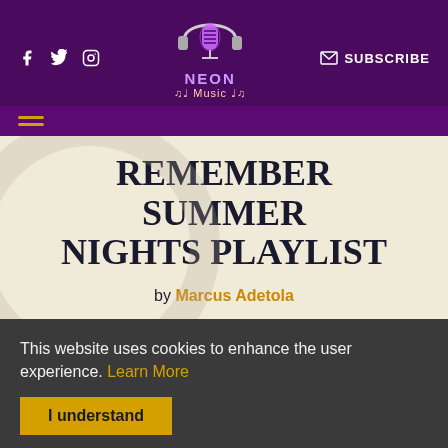NEON Music — social icons, subscribe, logo header
[Figure (logo): Neon Music logo with microphone and headphones, purple glow, text NEON Music]
REMEMBER SUMMER NIGHTS PLAYLIST
by Marcus Adetola
This website uses cookies to enhance the user experience. Learn More
I understand